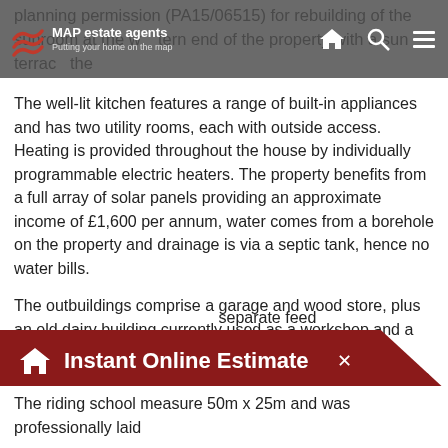planning permission (PA15/06515) for rebuilding of the sunroom at the western end of the property with a sun terrace the of to serve the main bedroom above.
The well-lit kitchen features a range of built-in appliances and has two utility rooms, each with outside access. Heating is provided throughout the house by individually programmable electric heaters. The property benefits from a full array of solar panels providing an approximate income of £1,600 per annum, water comes from a borehole on the property and drainage is via a septic tank, hence no water bills.
The outbuildings comprise a garage and wood store, plus an old dairy building currently used as a workshop and a separate block-built tack room. The stables are in two blocks - one of three and one of eight around a quadrangle with hay barn and covered wash-down area. The stalls measure 3.65 x 3.65m and have water separate feed
[Figure (infographic): Dark red CTA banner with house icon reading 'Instant Online Estimate' with a close X button]
The riding school measure 50m x 25m and was professionally laid